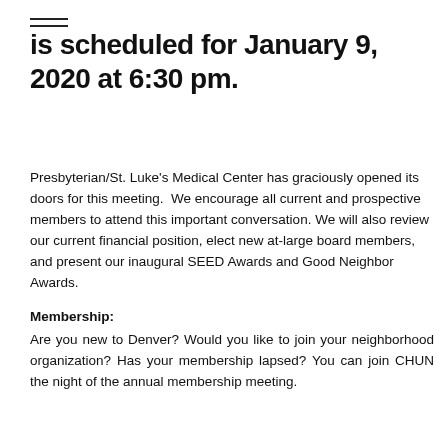is scheduled for January 9, 2020 at 6:30 pm.
Presbyterian/St. Luke's Medical Center has graciously opened its doors for this meeting.  We encourage all current and prospective members to attend this important conversation. We will also review our current financial position, elect new at-large board members, and present our inaugural SEED Awards and Good Neighbor Awards.
Membership:
Are you new to Denver? Would you like to join your neighborhood organization? Has your membership lapsed? You can join CHUN the night of the annual membership meeting.